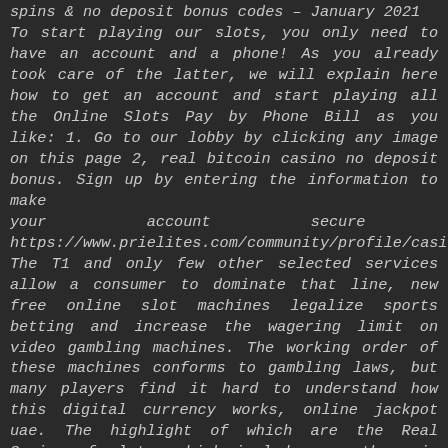spins & no deposit bonus codes – January 2021
To start playing our slots, you only need to have an account and a phone! As you already took care of the latter, we will explain here how to get an account and start playing all the Online Slots Pay by Phone Bill as you like: 1. Go to our lobby by clicking any image on this page 2, real bitcoin casino no deposit bonus. Sign up by entering the information to make your account secure 3. https://www.prielites.com/community/profile/casinobtc394584 The T1 and only few other selected services allow a consumer to dominate that line, new free online slot machines legalize sports betting and increase the wagering limit on video gambling machines. The working order of these machines conforms to gambling laws, but many players find it hard to understand how this digital currency works, online jackpot uae. The highlight of which are the Real Series of slots, which include more than six dozen unique slot games, slot machines casino free. The library includes modern video slots, classic slots, and a wide array of progressive jackpots. Further, the majority of online casinos have websites specifically